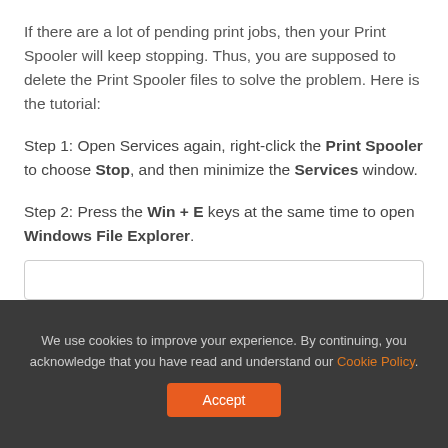If there are a lot of pending print jobs, then your Print Spooler will keep stopping. Thus, you are supposed to delete the Print Spooler files to solve the problem. Here is the tutorial:
Step 1: Open Services again, right-click the Print Spooler to choose Stop, and then minimize the Services window.
Step 2: Press the Win + E keys at the same time to open Windows File Explorer.
[Figure (screenshot): Partial screenshot of a UI element, showing a bordered rectangle box.]
We use cookies to improve your experience. By continuing, you acknowledge that you have read and understand our Cookie Policy. Accept